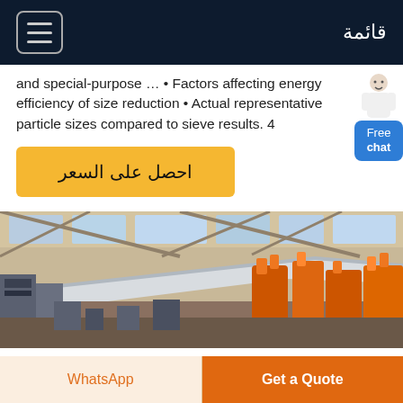قائمة
and special-purpose … • Factors affecting energy efficiency of size reduction • Actual representative particle sizes compared to sieve results. 4
احصل على السعر
[Figure (photo): Industrial factory floor with metal processing equipment, steel sheets and orange machinery visible in the background.]
WhatsApp
Get a Quote